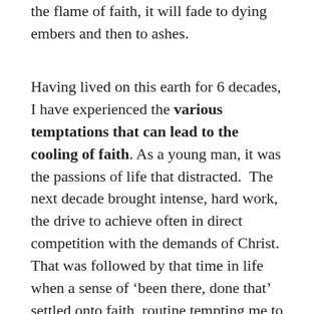the flame of faith, it will fade to dying embers and then to ashes.
Having lived on this earth for 6 decades, I have experienced the various temptations that can lead to the cooling of faith. As a young man, it was the passions of life that distracted.  The next decade brought intense, hard work, the drive to achieve often in direct competition with the demands of Christ. That was followed by that time in life when a sense of ‘been there, done that’ settled onto faith, routine tempting me to neglect the pursuit of the Holy.  In these later years, I am tempted to throttle back, to coast on the spiritual discoveries of the past.  Each season has its own tests, but the result of